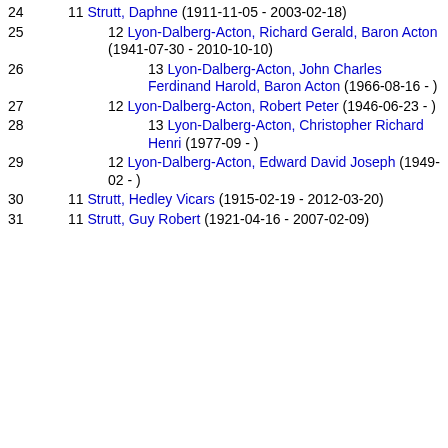24  11 Strutt, Daphne (1911-11-05 - 2003-02-18)
25  12 Lyon-Dalberg-Acton, Richard Gerald, Baron Acton (1941-07-30 - 2010-10-10)
26  13 Lyon-Dalberg-Acton, John Charles Ferdinand Harold, Baron Acton (1966-08-16 - )
27  12 Lyon-Dalberg-Acton, Robert Peter (1946-06-23 - )
28  13 Lyon-Dalberg-Acton, Christopher Richard Henri (1977-09 - )
29  12 Lyon-Dalberg-Acton, Edward David Joseph (1949-02 - )
30  11 Strutt, Hedley Vicars (1915-02-19 - 2012-03-20)
31  11 Strutt, Guy Robert (1921-04-16 - 2007-02-09)